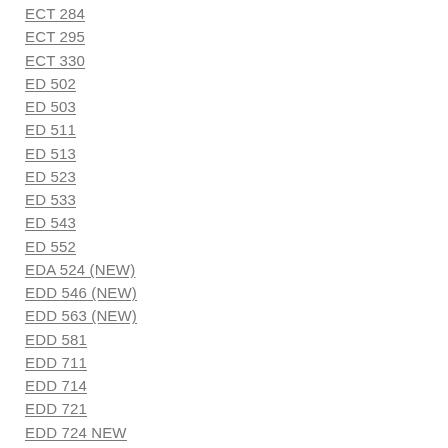ECT 284
ECT 295
ECT 330
ED 502
ED 503
ED 511
ED 513
ED 523
ED 533
ED 543
ED 552
EDA 524 (NEW)
EDD 546 (NEW)
EDD 563 (NEW)
EDD 581
EDD 711
EDD 714
EDD 721
EDD 724 NEW